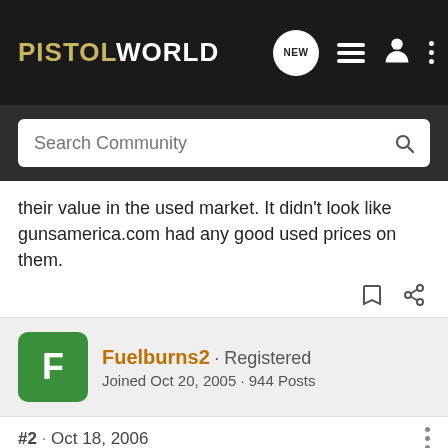PISTOLWORLD
their value in the used market. It didn't look like gunsamerica.com had any good used prices on them.
Fuelburns2 · Registered
Joined Oct 20, 2005 · 944 Posts
#2 · Oct 18, 2006
I don't think I've ever seen one used in my area. Keep in mind that many sellers on GunsAmerica are dealers and they are offering the guns in their store online for the same price. I don't often see many deals on GA.